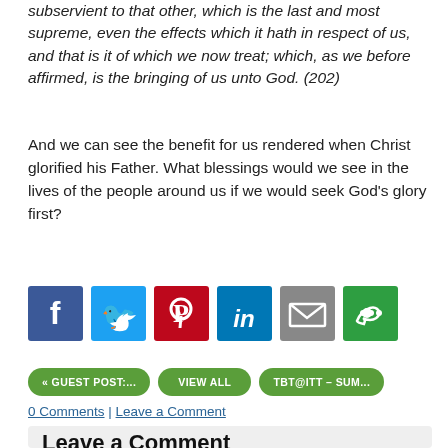subservient to that other, which is the last and most supreme, even the effects which it hath in respect of us, and that is it of which we now treat; which, as we before affirmed, is the bringing of us unto God. (202)
And we can see the benefit for us rendered when Christ glorified his Father. What blessings would we see in the lives of the people around us if we would seek God's glory first?
[Figure (infographic): Social sharing buttons: Facebook, Twitter, Pinterest, LinkedIn, Email, More]
« GUEST POST:...
VIEW ALL
TBT@ITT – SUM...
0 Comments | Leave a Comment
Leave a Comment